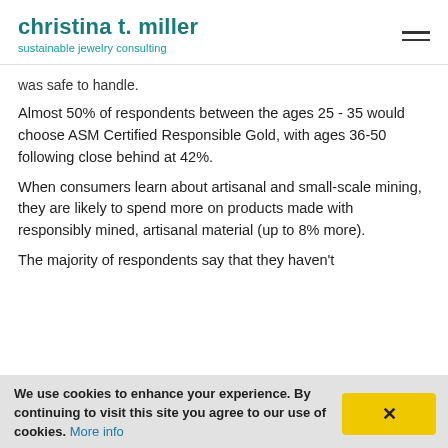christina t. miller
sustainable jewelry consulting
was safe to handle.
Almost 50% of respondents between the ages 25 - 35 would choose ASM Certified Responsible Gold, with ages 36-50 following close behind at 42%.
When consumers learn about artisanal and small-scale mining, they are likely to spend more on products made with responsibly mined, artisanal material (up to 8% more).
The majority of respondents say that they haven't
We use cookies to enhance your experience. By continuing to visit this site you agree to our use of cookies. More info